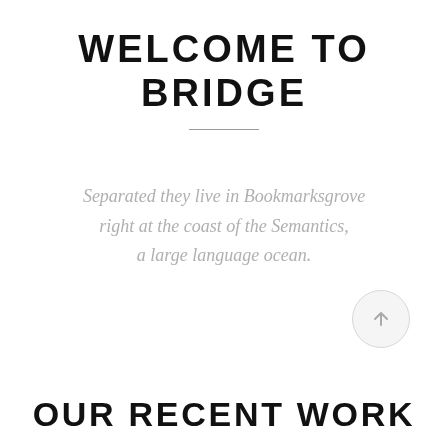WELCOME TO BRIDGE
Separated they live in Bookmarksgrove right at the coast of the Semantics, a large language ocean.
OUR RECENT WORK